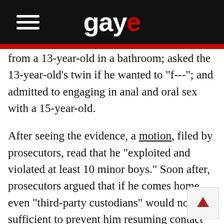gaye
from a 13-year-old in a bathroom; asked the 13-year-old's twin if he wanted to "f---"; and admitted to engaging in anal and oral sex with a 15-year-old.
After seeing the evidence, a motion, filed by prosecutors, read that he “exploited and violated at least 10 minor boys.” Soon after, prosecutors argued that if he comes home, even “third-party custodians” would not be sufficient to prevent him resuming contact with minors.
Under the federal law (18 U.S.C. §2252) to produce, distribute, receive or possess any child pornography is illegal. In addition, searching for and viewing child